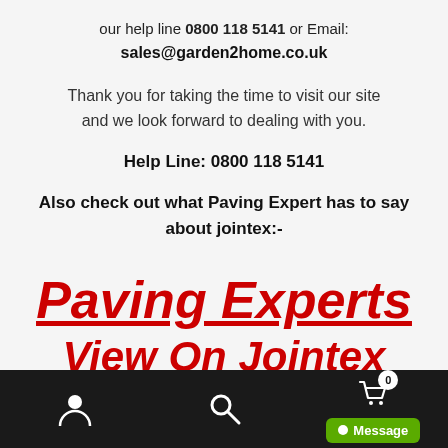our help line 0800 118 5141 or Email: sales@garden2home.co.uk
Thank you for taking the time to visit our site and we look forward to dealing with you.
Help Line: 0800 118 5141
Also check out what Paving Expert has to say about jointex:-
Paving Experts
View On  Jointex
User icon | Search icon | Cart (0) | Message